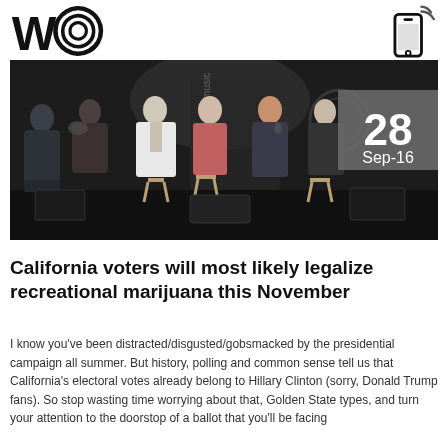WC logo and mobile icon
[Figure (photo): Panel of people seated on stools on a dark stage, having a discussion. A date overlay in the bottom-right corner reads '28 Sep-16'.]
California voters will most likely legalize recreational marijuana this November
I know you’ve been distracted/disgusted/gobsmacked by the presidential campaign all summer. But history, polling and common sense tell us that California’s electoral votes already belong to Hillary Clinton (sorry, Donald Trump fans). So stop wasting time worrying about that, Golden State types, and turn your attention to the doorstop of a ballot that you’ll be facing